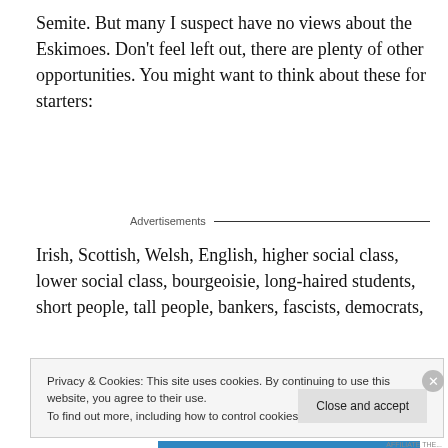Semite. But many I suspect have no views about the Eskimoes. Don't feel left out, there are plenty of other opportunities. You might want to think about these for starters:
Advertisements
Irish, Scottish, Welsh, English, higher social class, lower social class, bourgeoisie, long-haired students, short people, tall people, bankers, fascists, democrats,
Privacy & Cookies: This site uses cookies. By continuing to use this website, you agree to their use.
To find out more, including how to control cookies, see here: Cookie Policy